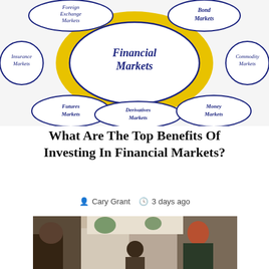[Figure (infographic): Financial Markets diagram showing a central oval labeled 'Financial Markets' in bold italic dark blue, surrounded by six smaller ovals connected by a yellow ring: Foreign Exchange Markets (top left), Bond Markets (top right), Commodity Markets (right), Money Markets (bottom right), Derivatives Markets (bottom center), Futures Markets (bottom left), Insurance Markets (left). All labels in italic dark blue.]
What Are The Top Benefits Of Investing In Financial Markets?
Cary Grant   3 days ago
[Figure (photo): Photo of people in a bright office or meeting space, including a woman with red hair smiling, a person with dark curly hair, and others. A teal/cyan scroll-to-top button with an upward arrow is overlaid in the top-right area of the photo.]